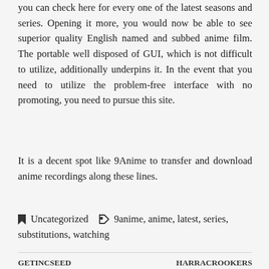you can check here for every one of the latest seasons and series. Opening it more, you would now be able to see superior quality English named and subbed anime film. The portable well disposed of GUI, which is not difficult to utilize, additionally underpins it. In the event that you need to utilize the problem-free interface with no promoting, you need to pursue this site.
It is a decent spot like 9Anime to transfer and download anime recordings along these lines.
Uncategorized   9anime, anime, latest, series, substitutions, watching
GETINCSEED   HARRACROOKERS